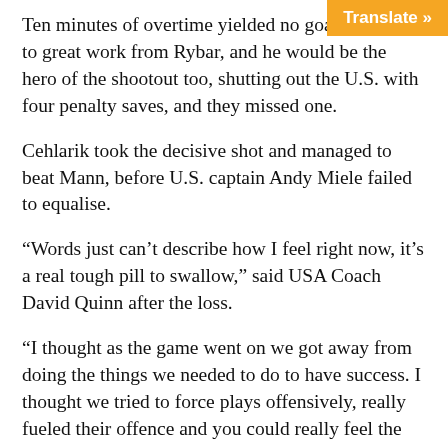Ten minutes of overtime yielded no goals, thanks to great work from Rybar, and he would be the hero of the shootout too, shutting out the U.S. with four penalty saves, and they missed one.
Cehlarik took the decisive shot and managed to beat Mann, before U.S. captain Andy Miele failed to equalise.
“Words just can’t describe how I feel right now, it’s a real tough pill to swallow,” said USA Coach David Quinn after the loss.
“I thought as the game went on we got away from doing the things we needed to do to have success. I thought we tried to force plays offensively, really fueled their offence and you could really feel the momentum change.
“To me the five-on-three was the turning point of the whole game. We had the chance to go up five-to-three